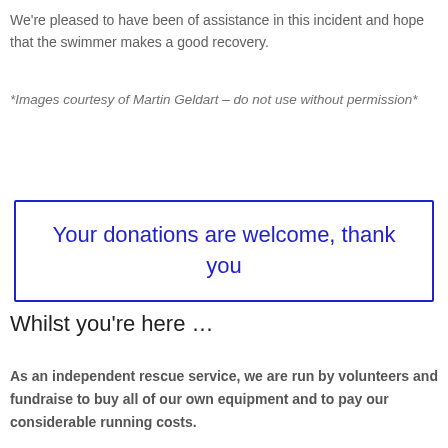We're pleased to have been of assistance in this incident and hope that the swimmer makes a good recovery.
*Images courtesy of Martin Geldart – do not use without permission*
Your donations are welcome, thank you
Whilst you're here …
As an independent rescue service, we are run by volunteers and fundraise to buy all of our own equipment and to pay our considerable running costs.